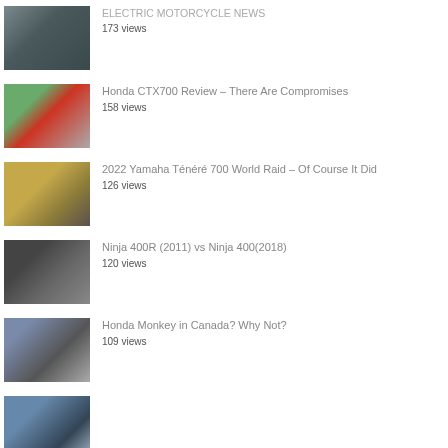ELECTRIC MOTORCYCLE NEWS
173 views
Honda CTX700 Review – There Are Compromises
158 views
2022 Yamaha Ténéré 700 World Raid – Of Course It Did
126 views
Ninja 400R (2011) vs Ninja 400(2018)
120 views
Honda Monkey in Canada? Why Not?
109 views
Ultimate Toronto Track Day? ...